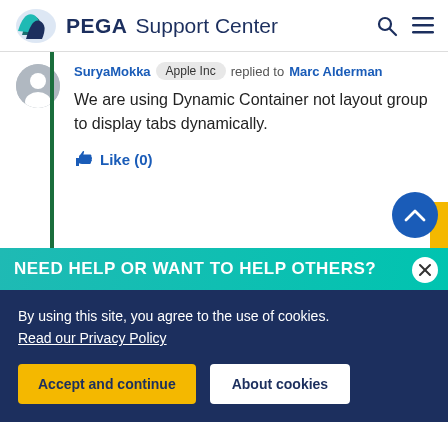PEGA Support Center
SuryaMokka Apple Inc replied to Marc Alderman
We are using Dynamic Container not layout group to display tabs dynamically.
Like (0)
NEED HELP OR WANT TO HELP OTHERS?
By using this site, you agree to the use of cookies. Read our Privacy Policy
Accept and continue   About cookies